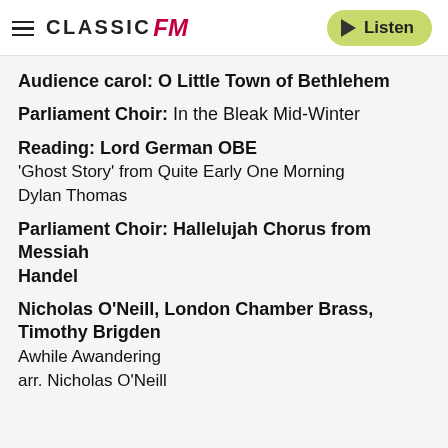CLASSIC FM | Listen
Audience carol: O Little Town of Bethlehem
Parliament Choir: In the Bleak Mid-Winter
Reading: Lord German OBE
'Ghost Story' from Quite Early One Morning
Dylan Thomas
Parliament Choir: Hallelujah Chorus from Messiah
Handel
Nicholas O'Neill, London Chamber Brass, Timothy Brigden
Awhile Awandering
arr. Nicholas O'Neill